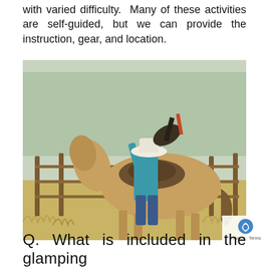with varied difficulty. Many of these activities are self-guided, but we can provide the instruction, gear, and location.
[Figure (photo): A person wearing a white cowboy hat and teal long-sleeve shirt is saddling or adjusting gear on a buckskin horse inside a ranch corral with wooden fence rails. Dry grass and trees visible in the background.]
Q. What is included in the glamping